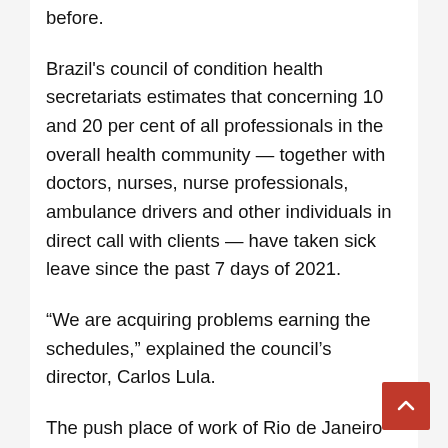before.
Brazil's council of condition health secretariats estimates that concerning 10 and 20 per cent of all professionals in the overall health community — together with doctors, nurses, nurse professionals, ambulance drivers and other individuals in direct call with clients — have taken sick leave since the past 7 days of 2021.
“We are acquiring problems earning the schedules,” explained the council’s director, Carlos Lula.
The push place of work of Rio de Janeiro state’s well being secretariat told AP that about 5,500 experts have remaining their jobs due to